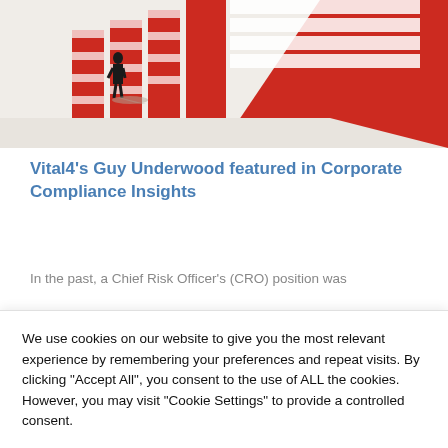[Figure (illustration): Abstract geometric illustration showing a lone figure (silhouette of a person in a suit) standing on a light beige floor facing large red and white stepped/stacked rectangular block structures, evoking themes of risk or compliance barriers.]
Vital4's Guy Underwood featured in Corporate Compliance Insights
In the past, a Chief Risk Officer's (CRO) position was
We use cookies on our website to give you the most relevant experience by remembering your preferences and repeat visits. By clicking "Accept All", you consent to the use of ALL the cookies. However, you may visit "Cookie Settings" to provide a controlled consent.